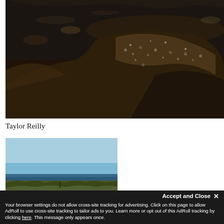[Figure (photo): Aerial/close-up view of rocky coastline with dark water, rocks covered in barnacles/mussels, and shallow tidal pools]
Taylor Reilly
[Figure (photo): Coastal landscape with blue sky, ocean horizon, and shrubby vegetation in the foreground]
Accept and Close ×
Your browser settings do not allow cross-site tracking for advertising. Click on this page to allow AdRoll to use cross-site tracking to tailor ads to you. Learn more or opt out of this AdRoll tracking by clicking here. This message only appears once.